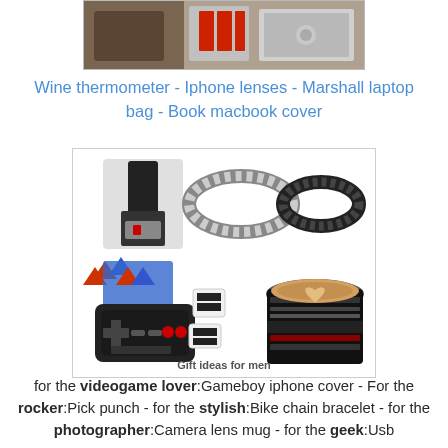[Figure (photo): Partial image of laptop bag and accessories at top of page]
Wine thermometer  -  Iphone lenses  -  Marshall laptop bag  -  Book macbook cover
[Figure (photo): Collage of gift ideas for men: pick punch, bike chain bracelets, NES controller phone cover, NES controller cufflinks, camera lens mug. Caption reads 'Gift ideas for men']
for the videogame lover:Gameboy iphone cover  -  For the rocker:Pick punch  -  for the stylish:Bike chain bracelet  -  for the photographer:Camera lens mug - for the geek:Usb